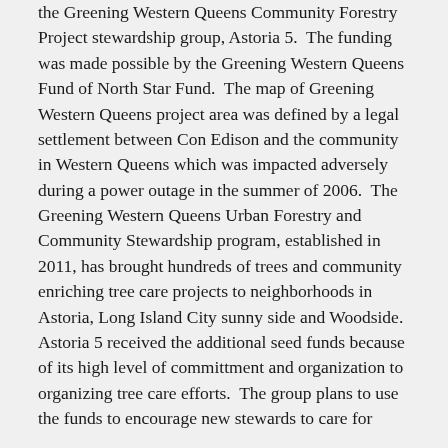the Greening Western Queens Community Forestry Project stewardship group, Astoria 5.  The funding was made possible by the Greening Western Queens Fund of North Star Fund.  The map of Greening Western Queens project area was defined by a legal settlement between Con Edison and the community in Western Queens which was impacted adversely during a power outage in the summer of 2006.  The Greening Western Queens Urban Forestry and Community Stewardship program, established in 2011, has brought hundreds of trees and community enriching tree care projects to neighborhoods in Astoria, Long Island City sunny side and Woodside.  Astoria 5 received the additional seed funds because of its high level of committment and organization to organizing tree care efforts.  The group plans to use the funds to encourage new stewards to care for